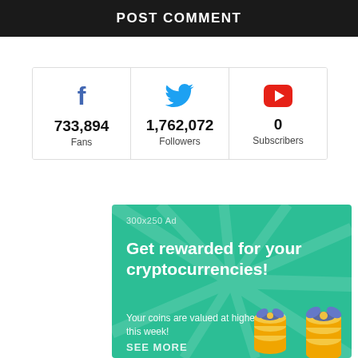POST COMMENT
[Figure (infographic): Social media stats row: Facebook 733,894 Fans, Twitter 1,762,072 Followers, YouTube 0 Subscribers]
[Figure (infographic): 300x250 Ad banner with green background. Headline: Get rewarded for your cryptocurrencies! Subtext: Your coins are valued at highest point this week! SEE MORE link with gift/coin illustrations.]